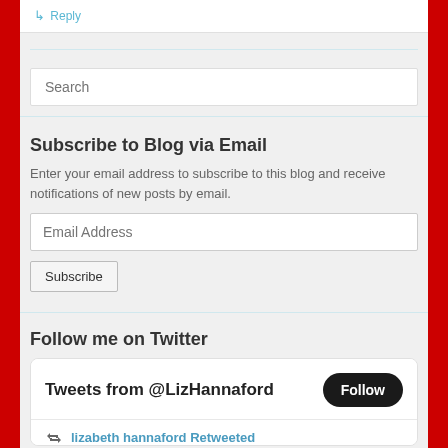↳ Reply
Subscribe to Blog via Email
Enter your email address to subscribe to this blog and receive notifications of new posts by email.
Follow me on Twitter
Tweets from @LizHannaford
lizabeth hannaford Retweeted